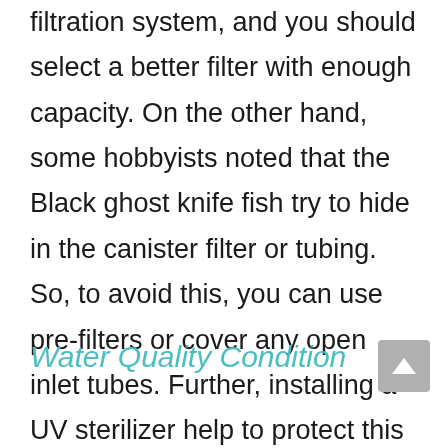filtration system, and you should select a better filter with enough capacity. On the other hand, some hobbyists noted that the Black ghost knife fish try to hide in the canister filter or tubing. So, to avoid this, you can use pre-filters or cover any open inlet tubes. Further, installing a UV sterilizer help to protect this scale-less fish from infections.
Water Quality Condition
It is crucial to keep ideal water